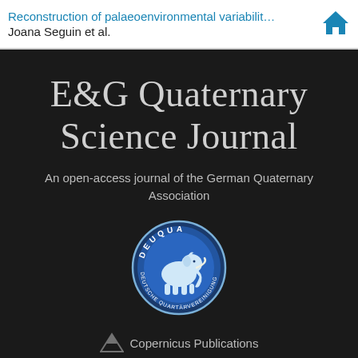Reconstruction of palaeoenvironmental variabilit... | Joana Seguin et al.
E&G Quaternary Science Journal
An open-access journal of the German Quaternary Association
[Figure (logo): DEUQUA (Deutsche Quartärvereinigung) circular logo featuring a blue mammoth illustration on a blue and white badge]
Copernicus Publications